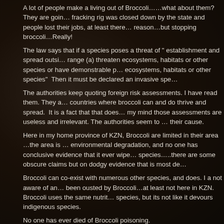A lot of people make a living out of Broccoli……what about them?  They are going to lose their jobs if a fracking rig was closed down by the state and people lost their jobs, at least there… reason…but stopping broccoli…Really!
The law says that if a species poses a threat of " establishment and spread outside its natural range (a) threaten ecosystems, habitats or other species or have demonstrable potential to threaten ecosystems, habitats or other species"  Then it must be declared an invasive species.
The authorities keep quoting foreign risk assessments. I have read them. They are from countries where broccoli can and do thrive and spread.  It is a fact that that does not apply here, in my mind those assessments are useless and irrelevant. The authorities seem to use them to further their cause.
Here in my home province of KZN, Broccoli are limited in their area …the area is prone to environmental degradation, and no one has conclusive evidence that it ever wiped out indigenous species…..there are some obscure claims but on dodgy evidence that is most debatable.
Broccoli can co-exist with numerous other species, and does. I a not aware of any indigenous that has been ousted by Broccoli…at least not here in KZN. Broccoli uses the same nutrients as indigenous species, but its not like it devours indigenous species.
No one has ever died of Broccoli poisoning.
As far as I know, a species has to meet the above "spread outside its natural dist… Human health or wellbeing before the state can regulate it. Broccoli never hu…